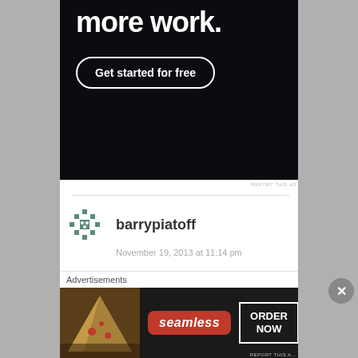[Figure (screenshot): Dark advertisement banner with text 'more work.' and a 'Get started for free' button with rounded border]
REPORT THIS AD
barrypiatoff
November 19, 2013 at 11:14 pm
Reblogged this on The Second Time Around and commented:
Forward thinking from my wife’s homeland!
Like
Advertisements
[Figure (screenshot): Seamless food delivery advertisement showing pizza image, Seamless logo badge, and ORDER NOW button]